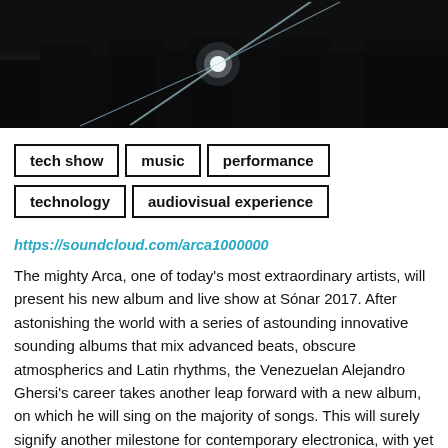[Figure (photo): Dark atmospheric photo with a bright light beam or laser crossing diagonally through a dark background, with a bright central point of light.]
tech show
music
performance
technology
audiovisual experience
https://soundcloud.com/arca1000000
The mighty Arca, one of today's most extraordinary artists, will present his new album and live show at Sónar 2017. After astonishing the world with a series of astounding innovative sounding albums that mix advanced beats, obscure atmospherics and Latin rhythms, the Venezuelan Alejandro Ghersi's career takes another leap forward with a new album, on which he will sing on the majority of songs. This will surely signify another milestone for contemporary electronica, with yet more unimaginable sound contributions. While the impact of his first and only